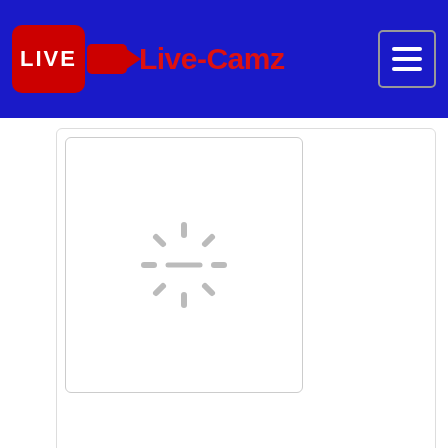[Figure (screenshot): Live-Camz website header with red logo badge reading LIVE with camera icon, site name Live-Camz in red on dark blue background, hamburger menu icon top right]
[Figure (photo): Loading spinner card (large) showing gray spinning loader icon on white background]
More images with foxandfoxy on 07-Sep-2018
[Figure (photo): Loading spinner card 1 of 5]
[Figure (photo): Loading spinner card 2 of 5]
[Figure (photo): Loading spinner card 3 of 5]
[Figure (photo): Loading spinner card 4 of 5]
[Figure (photo): Loading spinner card 5 of 5]